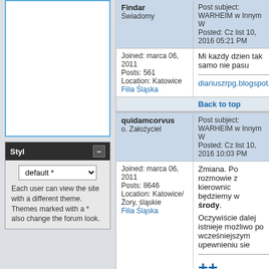[Figure (screenshot): Empty white box with blue border in left sidebar]
Styl
default *
Each user can view the site with a different theme.
Themes marked with a * also change the forum look.
Findar
Świadomy
Post subject: WARHEIM w Innym W
Posted: Cz list 10, 2016 05:21 PM
Mi kazdy dzien tak samo nie pasu
Joined: marca 06, 2011
Posts: 561
Location: Katowice
Filia Śląska
diariuszrpg.blogspot.com/
Back to top
quidamcorvus
o. Założyciel
Post subject: WARHEIM w Innym W
Posted: Cz list 10, 2016 10:03 PM
Zmiana. Po rozmowie z kierownic będziemy w środy.
Oczywiście dalej istnieje możliwo po wcześniejszym upewnieniu sie
Joined: marca 06, 2011
Posts: 8646
Location: Katowice/Żory, śląskie
Filia Śląska
++ Nowe F
Back to top